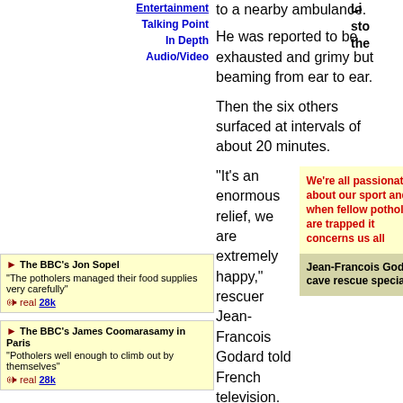to a nearby ambulance.
He was reported to be exhausted and grimy but beaming from ear to ear.
Then the six others surfaced at intervals of about 20 minutes.
"It's an enormous relief, we are extremely happy," rescuer Jean-Francois Godard told French television.
We're all passionate about our sport and when fellow potholers are trapped it concerns us all
Jean-Francois Godard, cave rescue specialist
All the potholers were pronounced to be in good health.
Rescuers offered food
Lieutenant Pierre Maisonneuve, spokesman for what has become the biggest rescue mission of its kind in France, praised the group's rationing of light and food provisions.
The BBC's Jon Sopel
"The potholders managed their food supplies very carefully"
The BBC's James Coomarasamy in Paris
"Potholers well enough to climb out by themselves"